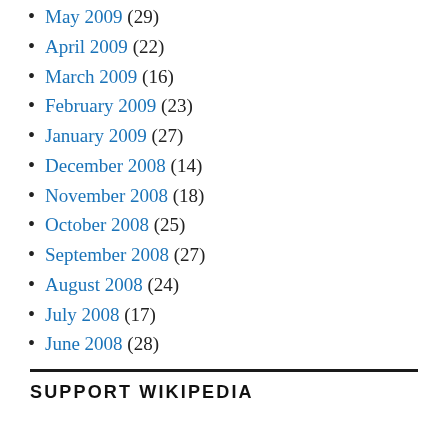May 2009 (29)
April 2009 (22)
March 2009 (16)
February 2009 (23)
January 2009 (27)
December 2008 (14)
November 2008 (18)
October 2008 (25)
September 2008 (27)
August 2008 (24)
July 2008 (17)
June 2008 (28)
SUPPORT WIKIPEDIA